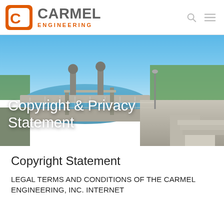[Figure (logo): Carmel Engineering logo with orange C icon and gray/orange text]
[Figure (photo): Aerial photo of a water treatment facility with circular tanks, bridges, and blue sky]
Copyright & Privacy Statement
Copyright Statement
LEGAL TERMS AND CONDITIONS OF THE CARMEL ENGINEERING, INC. INTERNET